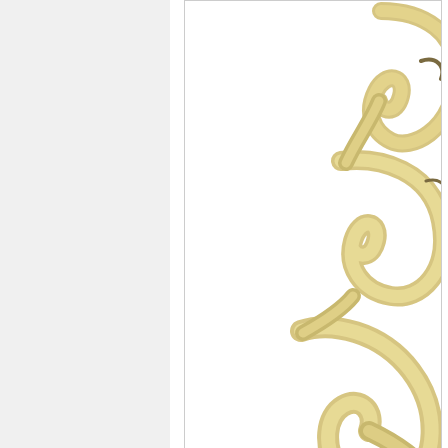[Figure (illustration): 3D protein structure ribbon diagram of 1X70 monomer rendered in gold/tan color, showing alpha helices and loops, partially cropped at right edge of page]
1 monomer of 1X70 with all waters and non stan...
Receptor Prep
[Figure (illustration): Bottom portion of a figure box, white background, content cropped]